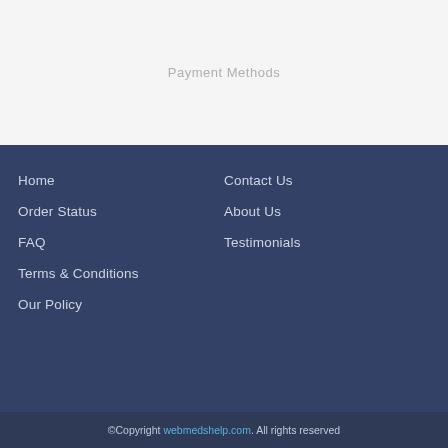Payment Methods
Home
Order Status
FAQ
Terms & Conditions
Our Policy
Contact Us
About Us
Testimonials
©Copyright webmedshelp.com. All rights reserved